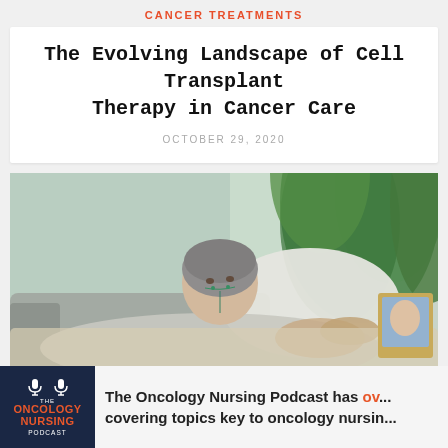CANCER TREATMENTS
The Evolving Landscape of Cell Transplant Therapy in Cancer Care
OCTOBER 29, 2020
[Figure (photo): A cancer patient wearing a grey head covering and nasal oxygen tube lying on a sofa resting against pillows, with green plants and a framed photo visible in the background]
[Figure (logo): The Oncology Nursing Podcast logo on a dark navy background with orange and white text and microphone icons]
The Oncology Nursing Podcast has ov... covering topics key to oncology nursin...